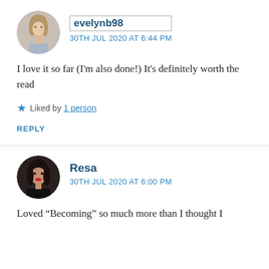[Figure (photo): Circular avatar of a young woman with light brown hair, wearing a light blue top, against a light background.]
evelynb98
30TH JUL 2020 AT 6:44 PM
I love it so far (I'm also done!) It's definitely worth the read
★ Liked by 1 person
REPLY
[Figure (photo): Circular avatar of a woman with dark hair and red lipstick against a dark background.]
Resa
30TH JUL 2020 AT 6:00 PM
Loved “Becoming” so much more than I thought I would too. I need to keep enjoying it with...